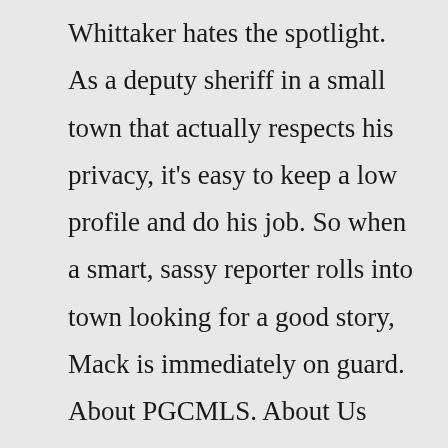Whittaker hates the spotlight. As a deputy sheriff in a small town that actually respects his privacy, it's easy to keep a low profile and do his job. So when a smart, sassy reporter rolls into town looking for a good story, Mack is immediately on guard. About PGCMLS. About Us Alerts Board of Library Trustees Collaborate with the Library Contact Us Phased Reopening Plan Diversity Statement Employment FAQ